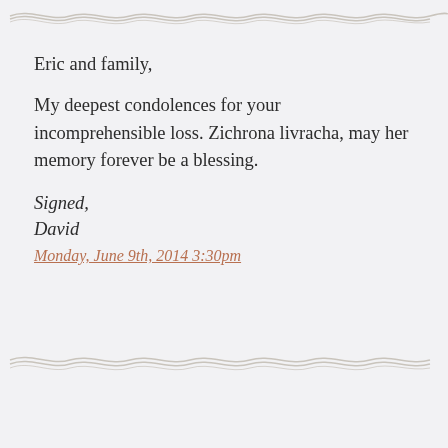[Figure (illustration): Decorative wavy line divider in taupe/gray color at top of page]
Eric and family,
My deepest condolences for your incomprehensible loss. Zichrona livracha, may her memory forever be a blessing.
Signed,
David
Monday, June 9th, 2014 3:30pm
[Figure (illustration): Decorative wavy line divider in taupe/gray color in middle of page]
Colin Yates said it so well. As fellow Christians, we are devastated at your loss but you should know that no one could